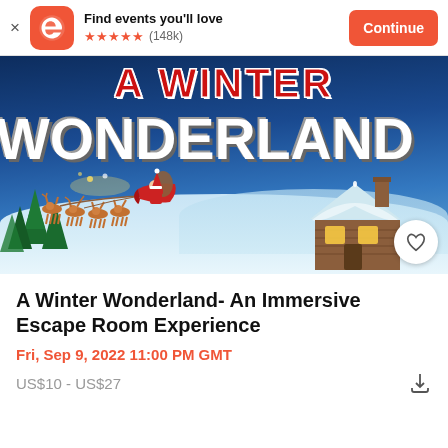[Figure (screenshot): Eventbrite app banner with logo, 'Find events you'll love' text, 5-star rating (148k reviews), and orange Continue button]
[Figure (illustration): A Winter Wonderland promotional image with red and white title text, Santa on sleigh with reindeer flying over snowy scene with a log cabin]
A Winter Wonderland- An Immersive Escape Room Experience
Fri, Sep 9, 2022 11:00 PM GMT
US$10 - US$27